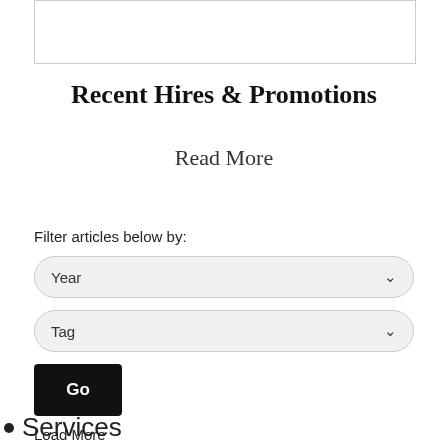[Figure (other): Partial image box at top of page, content not visible]
Recent Hires & Promotions
Read More
Filter articles below by:
Year
Tag
Go
Load More
Services